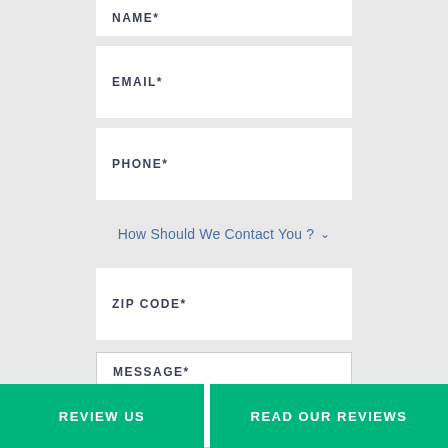NAME*
EMAIL*
PHONE*
How Should We Contact You ?
ZIP CODE*
MESSAGE*
REVIEW US
READ OUR REVIEWS